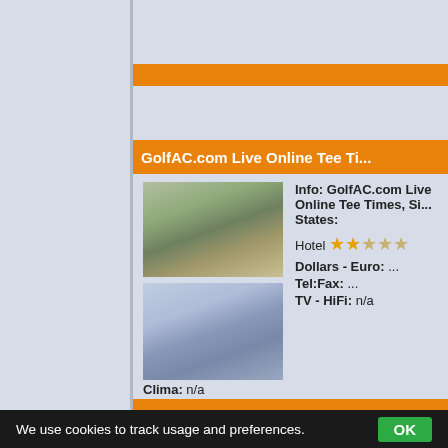GolfAC.com Live Online Tee Ti...
GolfAC.com Live Online Tee Ti...
Info: GolfAC.com Live Online Tee Times, Si... States:
Hotel ★★☆☆☆
Dollars - Euro: ...
Tel:Fax: ...
TV - HiFi: n/a
Clima: n/a
Frigobar: n/a
Desc: submit a request for a golf package quick quote now! be s...
In: United States
Web Site: GolfAC.com Live Online Tee Times, Side Bar
Web Link: http://www.golfac.com/golfform.php
We use cookies to track usage and preferences. OK